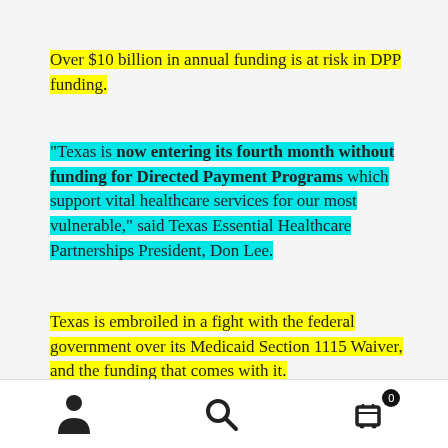Over $10 billion in annual funding is at risk in DPP funding.
“Texas is now entering its fourth month without funding for Directed Payment Programs which support vital healthcare services for our most vulnerable,” said Texas Essential Healthcare Partnerships President, Don Lee.
Texas is embroiled in a fight with the federal government over its Medicaid Section 1115 Waiver, and the funding that comes with it.
Back in April, the Biden administration’s Department of Health and Human Services (HHS) retroactively denied Texas’s waiver application. Before the regime changed hands,
[navigation icons: person, search, cart]